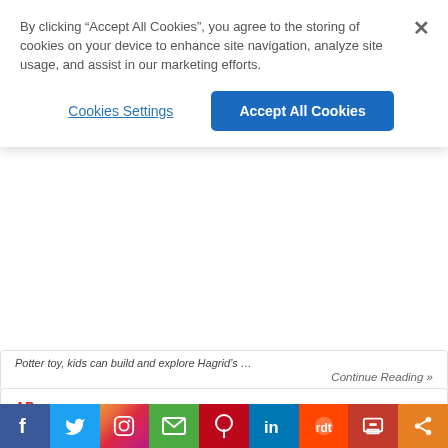By clicking “Accept All Cookies”, you agree to the storing of cookies on your device to enhance site navigation, analyze site usage, and assist in our marketing efforts.
Cookies Settings
Accept All Cookies
Potter toy, kids can build and explore Hagrid’s ...
Continue Reading »
[Figure (logo): Associated Press logo - AP in red with 'Associated Press' text]
U.S. offers extra monkeypox vaccine doses for gay pride events
Friday, Aug. 19, 2022 | Associated Press
[Figure (photo): Close-up photo of a person receiving a vaccine injection, showing hands and arms with a blue shirt, watch, bracelet, and maroon clothing]
f  Twitter  Instagram  Email  Pinterest  in  Reddit  Print  Share